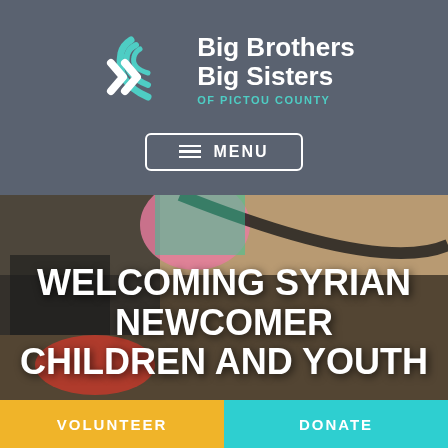[Figure (logo): Big Brothers Big Sisters of Pictou County logo with teal wave/chevron icon and organization name in white text with 'OF PICTOU COUNTY' in teal below]
[Figure (screenshot): Mobile website screenshot showing hamburger menu button labeled MENU with white border on grey background]
[Figure (photo): Photo of children sitting on floor, showing feet and lower bodies, with dark overlay]
WELCOMING SYRIAN NEWCOMER CHILDREN AND YOUTH
VOLUNTEER
DONATE